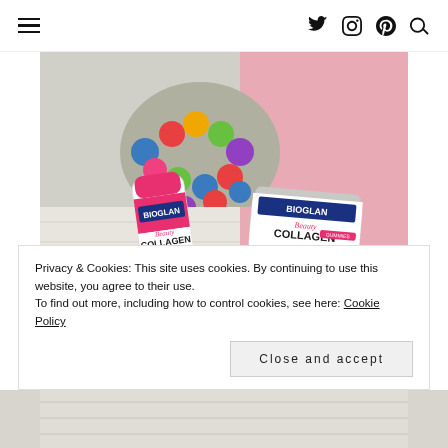Navigation bar with hamburger menu and social icons (Twitter, Instagram, Pinterest, Search)
[Figure (photo): Two Bioglan Beauty Collagen products — a tube/bottle and a gummy jar — placed on a white surface with colorful felt balls backdrop and pink patterned background]
Privacy & Cookies: This site uses cookies. By continuing to use this website, you agree to their use.
To find out more, including how to control cookies, see here: Cookie Policy
Close and accept